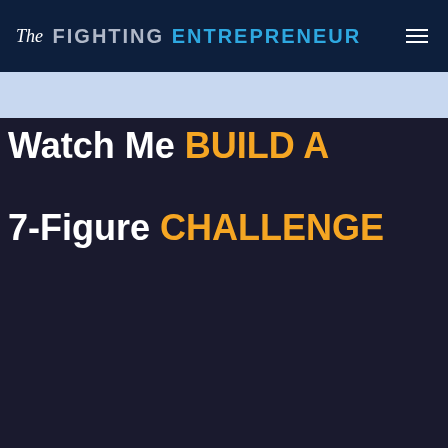The Fighting Entrepreneur
What's your name?
← Go back
Email address?
Notify Me
More episodes like this
[Figure (photo): Thumbnail image with dark background and bold text reading 'Watch Me BUILD A 7-Figure CHALLENGE']